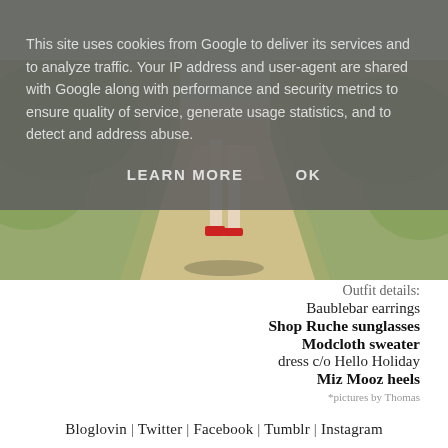[Figure (photo): Outdoor photo showing legs of a person wearing a dress and red heels walking on a dirt path through grass]
This site uses cookies from Google to deliver its services and to analyze traffic. Your IP address and user-agent are shared with Google along with performance and security metrics to ensure quality of service, generate usage statistics, and to detect and address abuse.
LEARN MORE    OK
Outfit details:
Baublebar earrings
Shop Ruche sunglasses
Modcloth sweater
dress c/o Hello Holiday
Miz Mooz heels
*pictures by Thomas
Bloglovin | Twitter | Facebook | Tumblr | Instagram